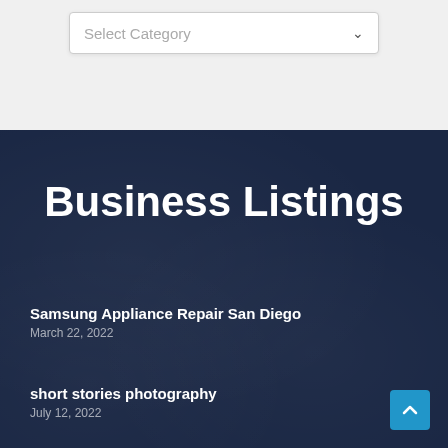[Figure (screenshot): A dropdown UI element with placeholder text 'Select Category' and a downward arrow, on a light gray background]
Business Listings
Samsung Appliance Repair San Diego
March 22, 2022
short stories photography
July 12, 2022